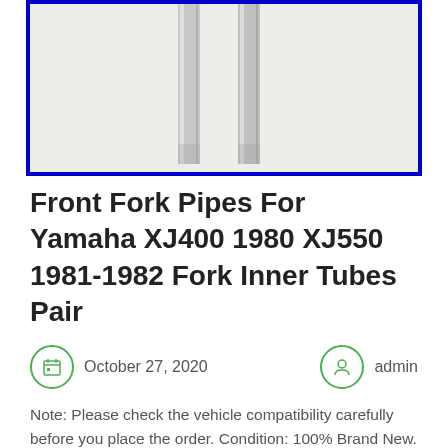[Figure (photo): Product photo of front fork inner tubes/pipes for Yamaha motorcycle, showing two vertical metal tubes against a light background with a blue border]
Front Fork Pipes For Yamaha XJ400 1980 XJ550 1981-1982 Fork Inner Tubes Pair
October 27, 2020   admin
Note: Please check the vehicle compatibility carefully before you place the order. Condition: 100% Brand New. Length: 585mm / 23.03inch. 2 x fork tubes. Item location at CA, United States will be deli...
READ MORE